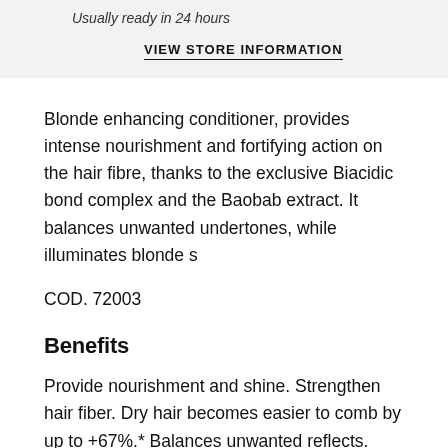Usually ready in 24 hours
VIEW STORE INFORMATION
Blonde enhancing conditioner, provides intense nourishment and fortifying action on the hair fibre, thanks to the exclusive Biacidic bond complex and the Baobab extract. It balances unwanted undertones, while illuminates blonde s
COD. 72003
Benefits
Provide nourishment and shine. Strengthen hair fiber. Dry hair becomes easier to comb by up to +67%.* Balances unwanted reflects. Manufactured in 100% CO2 neutral Davines Village. Packaging made of post consumer recycled plastic. 100% offset CO2 offset product, from raw materials